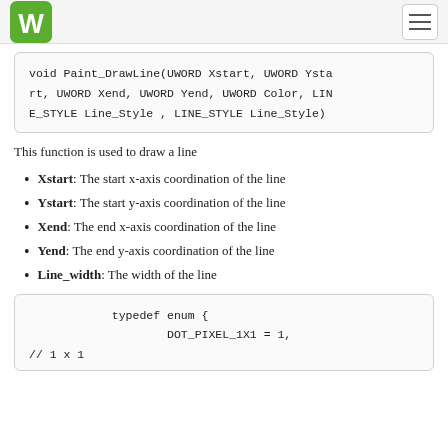Waveshare logo and navigation
void Paint_DrawLine(UWORD Xstart, UWORD Ystart, UWORD Xend, UWORD Yend, UWORD Color, LINE_STYLE Line_Style , LINE_STYLE Line_Style)
This function is used to draw a line
Xstart: The start x-axis coordination of the line
Ystart: The start y-axis coordination of the line
Xend: The end x-axis coordination of the line
Yend: The end y-axis coordination of the line
Line_width: The width of the line
typedef enum {
        DOT_PIXEL_1X1 = 1,
// 1 x 1